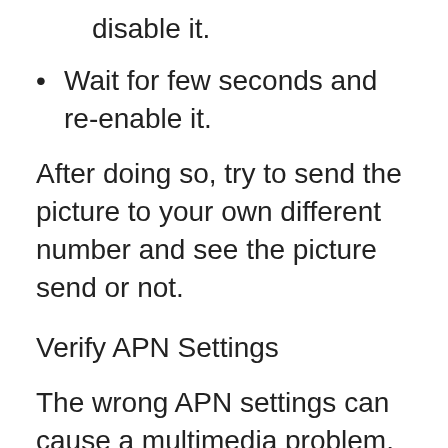disable it.
Wait for few seconds and re-enable it.
After doing so, try to send the picture to your own different number and see the picture send or not.
Verify APN Settings
The wrong APN settings can cause a multimedia problem. And if receiving or sending pictures takes time forever,